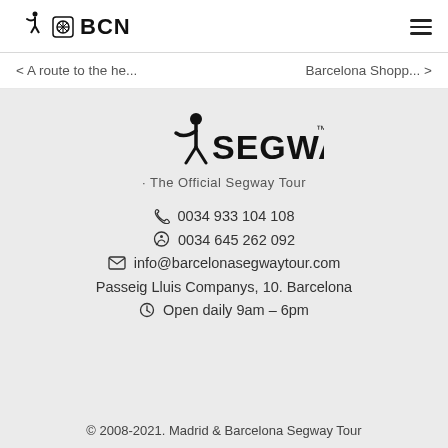BCN (logo with Segway icon)
< A route to the he...   Barcelona Shopp... >
[Figure (logo): Segway logo with text SEGWAY and tagline The Official Segway Tour]
0034 933 104 108
0034 645 262 092
info@barcelonasegwaytour.com
Passeig Lluis Companys, 10. Barcelona
Open daily 9am – 6pm
© 2008-2021. Madrid & Barcelona Segway Tour